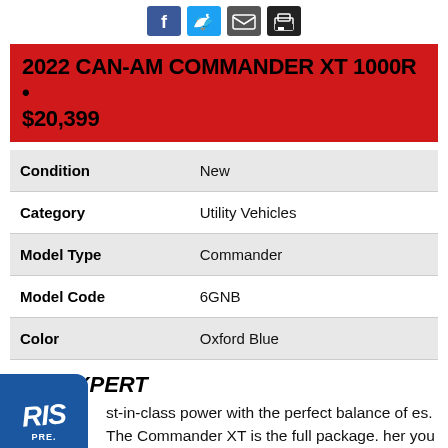[Figure (other): Social media sharing icons: Facebook, Twitter, Email, Print]
2022 CAN-AM COMMANDER XT 1000R • $20,399
| Condition | New |
| Category | Utility Vehicles |
| Model Type | Commander |
| Model Code | 6GNB |
| Color | Oxford Blue |
THE EXPERT
st-in-class power with the perfect balance of es. The Commander XT is the full package. her you need a full roof and XT bumper to face
[Figure (logo): Blue badge overlay with 'RIS' text and 'PRE.' subtext]